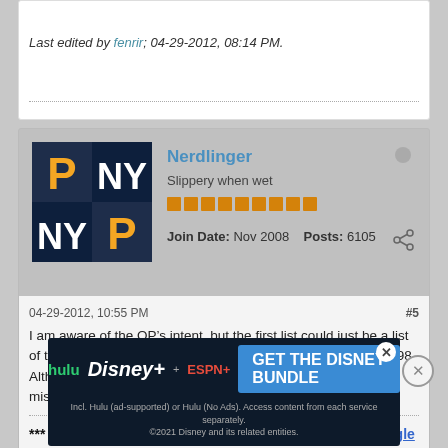Last edited by fenrir; 04-29-2012, 08:14 PM.
Nerdlinger
Slippery when wet
Join Date: Nov 2008   Posts: 6105
04-29-2012, 10:55 PM
#5
I am aware of the OP’s intent, but the first list could just be a list of the top 10 career HR leaders as of anywhere from 1989-1998. Although Ted Williams, who’s tied with McCovey for 10th, is missing.
*** Submit your personal HOF as your ballot for the Single Ballot BBF Hall of Fame! ***
[Figure (screenshot): Disney Bundle advertisement banner showing Hulu, Disney+, ESPN+ logos and GET THE DISNEY BUNDLE button]